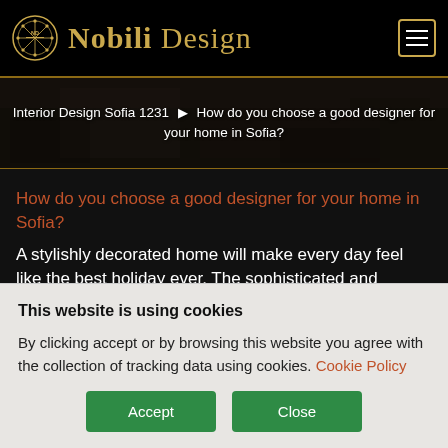Nobili Design
Interior Design Sofia 1231 → How do you choose a good designer for your home in Sofia?
How do you choose a good designer for your home in Sofia?
A stylishly decorated home will make every day feel like the best holiday ever. The sophisticated and
This website is using cookies
By clicking accept or by browsing this website you agree with the collection of tracking data using cookies. Cookie Policy